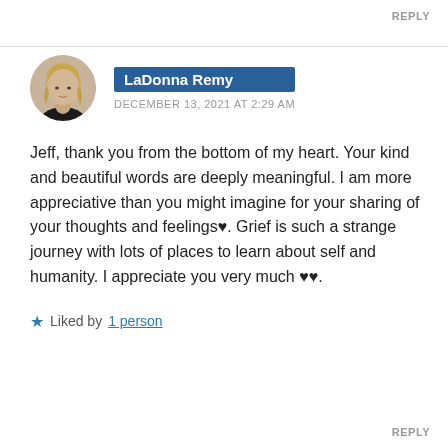REPLY
LaDonna Remy
DECEMBER 13, 2021 AT 2:29 AM
Jeff, thank you from the bottom of my heart. Your kind and beautiful words are deeply meaningful. I am more appreciative than you might imagine for your sharing of your thoughts and feelings♥. Grief is such a strange journey with lots of places to learn about self and humanity. I appreciate you very much ♥♥.
★ Liked by 1 person
REPLY